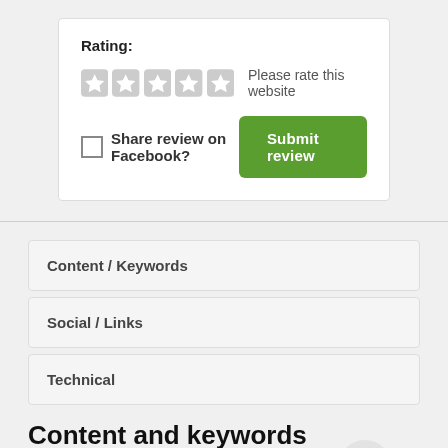Rating:
Please rate this website
Share review on Facebook?
Submit review
Content / Keywords
Social / Links
Technical
Content and keywords
The decathlon is a combined event in athletics consisting of ten track and field events. The word decathlon is of Greek origin, from